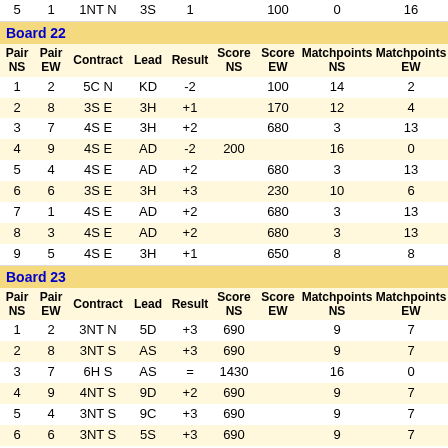| Pair NS | Pair EW | Contract | Lead | Result | Score NS | Score EW | Matchpoints NS | Matchpoints EW |
| --- | --- | --- | --- | --- | --- | --- | --- | --- |
| 5 | 1 | 1NT N | 3S | 1 |  | 100 | 0 | 16 |
| Board 22 |  |  |  |  |  |  |  |  |
Board 22
| Pair NS | Pair EW | Contract | Lead | Result | Score NS | Score EW | Matchpoints NS | Matchpoints EW |
| --- | --- | --- | --- | --- | --- | --- | --- | --- |
| 1 | 2 | 5C N | KD | -2 |  | 100 | 14 | 2 |
| 2 | 8 | 3S E | 3H | +1 |  | 170 | 12 | 4 |
| 3 | 7 | 4S E | 3H | +2 |  | 680 | 3 | 13 |
| 4 | 9 | 4S E | AD | -2 | 200 |  | 16 | 0 |
| 5 | 4 | 4S E | AD | +2 |  | 680 | 3 | 13 |
| 6 | 6 | 3S E | 3H | +3 |  | 230 | 10 | 6 |
| 7 | 1 | 4S E | AD | +2 |  | 680 | 3 | 13 |
| 8 | 3 | 4S E | AD | +2 |  | 680 | 3 | 13 |
| 9 | 5 | 4S E | 3H | +1 |  | 650 | 8 | 8 |
Board 23
| Pair NS | Pair EW | Contract | Lead | Result | Score NS | Score EW | Matchpoints NS | Matchpoints EW |
| --- | --- | --- | --- | --- | --- | --- | --- | --- |
| 1 | 2 | 3NT N | 5D | +3 | 690 |  | 9 | 7 |
| 2 | 8 | 3NT S | AS | +3 | 690 |  | 9 | 7 |
| 3 | 7 | 6H S | AS | = | 1430 |  | 16 | 0 |
| 4 | 9 | 4NT S | 9D | +2 | 690 |  | 9 | 7 |
| 5 | 4 | 3NT S | 9C | +3 | 690 |  | 9 | 7 |
| 6 | 6 | 3NT S | 5S | +3 | 690 |  | 9 | 7 |
| 7 | 1 | 5NT S | 9C | +1 | 690 |  | 9 | 7 |
| 8 | 3 | 3NT S | 6C | +2 | 660 |  | 0 | 16 |